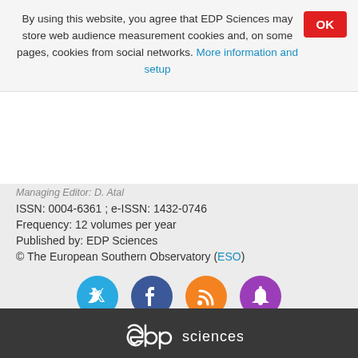By using this website, you agree that EDP Sciences may store web audience measurement cookies and, on some pages, cookies from social networks. More information and setup
Managing Editor: D. Atal
ISSN: 0004-6361 ; e-ISSN: 1432-0746
Frequency: 12 volumes per year
Published by: EDP Sciences
© The European Southern Observatory (ESO)
[Figure (infographic): Social media icons: Twitter (blue), Facebook (dark blue), RSS (orange), Bell/notifications (purple)]
Home ▶ All issues ▶ Volume 534 (October 2011) ▶ A&A, 534 (2011) A32 ▶
References
Back to top
[Figure (logo): EDP Sciences logo in white on dark background]